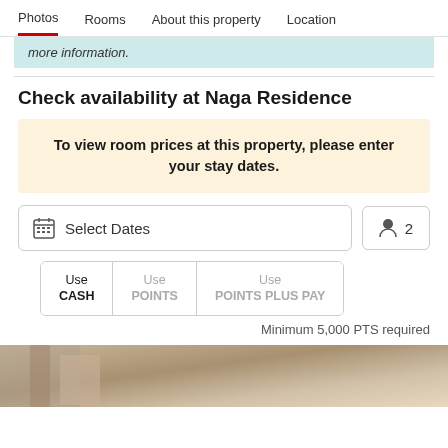Photos  Rooms  About this property  Location
more information.
Check availability at Naga Residence
To view room prices at this property, please enter your stay dates.
Select Dates
2
Use CASH  Use POINTS  Use POINTS PLUS PAY
Minimum 5,000 PTS required
[Figure (photo): Bottom portion of a hotel room image]